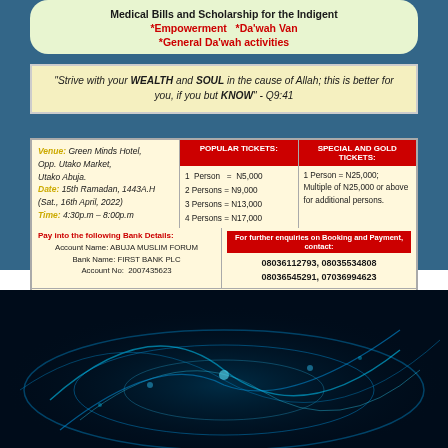Medical Bills and Scholarship for the Indigent *Empowerment *Da'wah Van *General Da'wah activities
"Strive with your WEALTH and SOUL in the cause of Allah; this is better for you, if you but KNOW" - Q9:41
| Venue/Date/Time | POPULAR TICKETS: | SPECIAL AND GOLD TICKETS: |
| --- | --- | --- |
| Venue: Green Minds Hotel, Opp. Utako Market, Utako Abuja. | 1 Person = N5,000 | 1 Person = N25,000; |
| Date: 15th Ramadan, 1443A.H (Sat., 16th April, 2022) | 2 Persons = N9,000 | Multiple of N25,000 or above |
| Time: 4:30p.m - 8:00p.m | 3 Persons = N13,000 | for additional persons. |
|  | 4 Persons = N17,000 |  |
|  | 5 Persons = N20,000 |  |
Pay into the following Bank Details: Account Name: ABUJA MUSLIM FORUM Bank Name: FIRST BANK PLC Account No: 2007435623
For further enquiries on Booking and Payment, contact: 08036112793, 08035534808 08036545291, 07036994623
NB: The Best Sadaqah is the one done in the month of RAMADAN You can multiply your reward by also booking for friends and the less privileged. Don't be left out.
[Figure (photo): Dark background with glowing blue light streaks resembling a global network or aurora-like light effects]